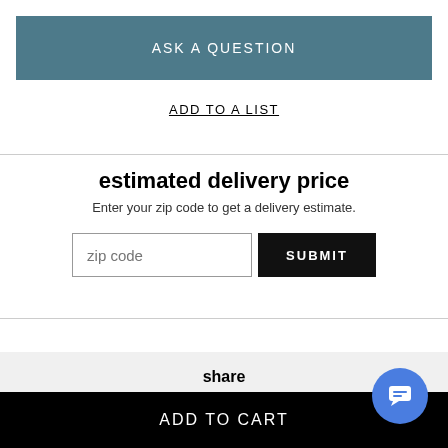ASK A QUESTION
ADD TO A LIST
estimated delivery price
Enter your zip code to get a delivery estimate.
zip code
SUBMIT
share
ADD TO CART